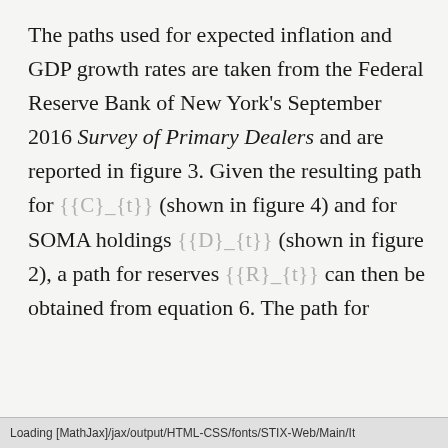The paths used for expected inflation and GDP growth rates are taken from the Federal Reserve Bank of New York's September 2016 Survey of Primary Dealers and are reported in figure 3. Given the resulting path for {{C}_{t}} (shown in figure 4) and for SOMA holdings {{D}_{t}} (shown in figure 2), a path for reserves {{R}_{t}} can then be obtained from equation 6. The path for
Loading [MathJax]/jax/output/HTML-CSS/fonts/STIX-Web/Main/It